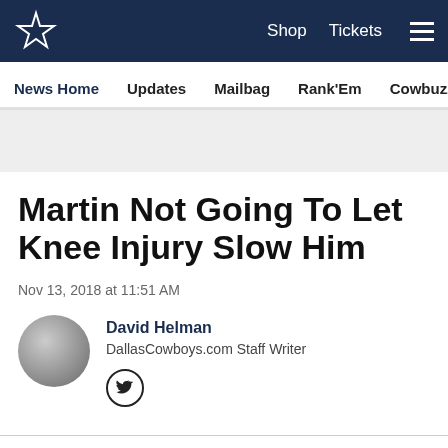Dallas Cowboys website header with star logo, Shop, Tickets, and menu
News Home | Updates | Mailbag | Rank'Em | Cowbuzz | Past/Pres
Martin Not Going To Let Knee Injury Slow Him
Nov 13, 2018 at 11:51 AM
David Helman
DallasCowboys.com Staff Writer